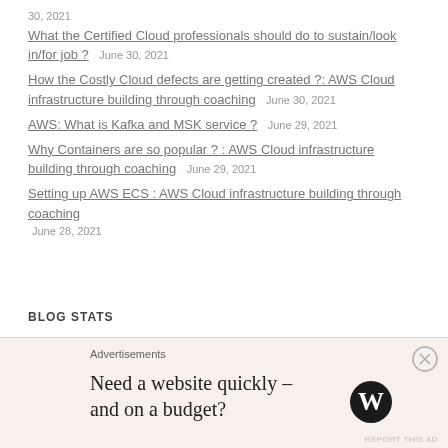30, 2021
What the Certified Cloud professionals should do to sustain/look in/for job ?   June 30, 2021
How the Costly Cloud defects are getting created ?: AWS Cloud infrastructure building through coaching   June 30, 2021
AWS: What is Kafka and MSK service ?   June 29, 2021
Why Containers are so popular ? : AWS Cloud infrastructure building through coaching   June 29, 2021
Setting up AWS ECS : AWS Cloud infrastructure building through coaching   June 28, 2021
BLOG STATS
76,089 hits
Advertisements
Need a website quickly – and on a budget?